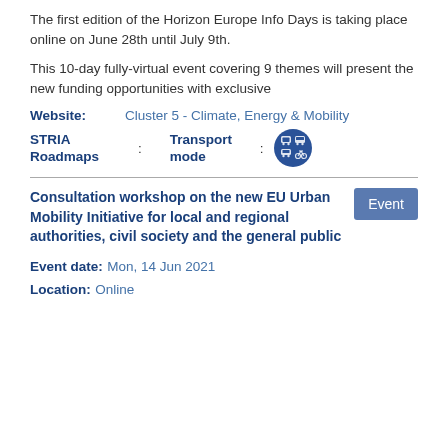The first edition of the Horizon Europe Info Days is taking place online on June 28th until July 9th.
This 10-day fully-virtual event covering 9 themes will present the new funding opportunities with exclusive
Website: Cluster 5 - Climate, Energy & Mobility
STRIA Roadmaps : Transport mode :
Consultation workshop on the new EU Urban Mobility Initiative for local and regional authorities, civil society and the general public
Event date: Mon, 14 Jun 2021
Location: Online